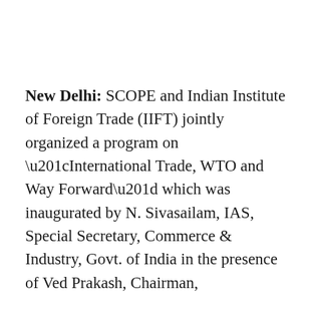New Delhi: SCOPE and Indian Institute of Foreign Trade (IIFT) jointly organized a program on “International Trade, WTO and Way Forward” which was inaugurated by N. Sivasailam, IAS, Special Secretary, Commerce & Industry, Govt. of India in the presence of Ved Prakash, Chairman,